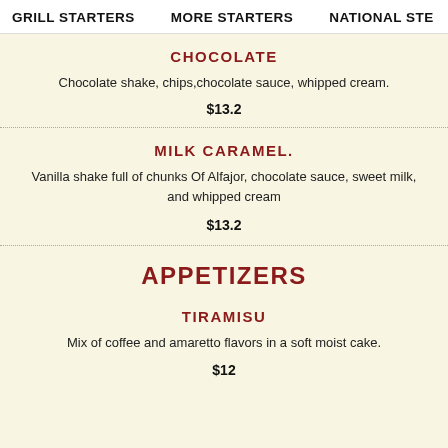GRILL STARTERS   MORE STARTERS   NATIONAL STE
CHOCOLATE
Chocolate shake, chips,chocolate sauce, whipped cream.
$13.2
MILK CARAMEL.
Vanilla shake full of chunks Of Alfajor, chocolate sauce, sweet milk, and whipped cream
$13.2
APPETIZERS
TIRAMISU
Mix of coffee and amaretto flavors in a soft moist cake.
$12